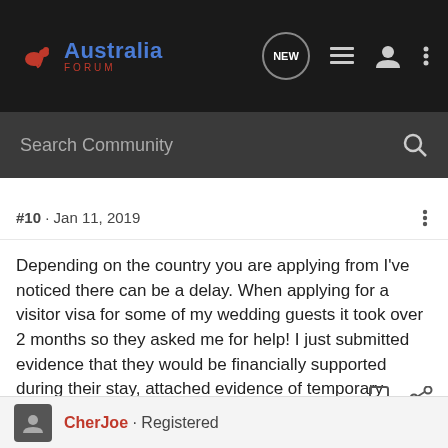Australia Forum — navigation bar with NEW, list, user, and menu icons
Search Community
#10 · Jan 11, 2019
Depending on the country you are applying from I've noticed there can be a delay. When applying for a visitor visa for some of my wedding guests it took over 2 months so they asked me for help! I just submitted evidence that they would be financially supported during their stay, attached evidence of temporary health insurance, and a stat dec explaining the situation that it was a temporary holiday to attend our wedding and that all their costs had been accounted for. Visas were approved a week later!
CherJoe · Registered